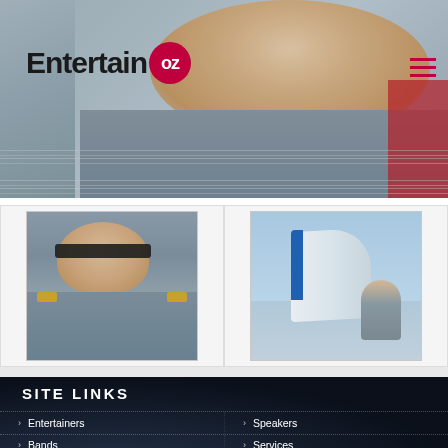[Figure (photo): Header photo of a person in military/aviation uniform (pilot), partially obscured by logo overlay. Background shows red elements.]
EntertainOZ
[Figure (photo): Thumbnail photo of a young man wearing sunglasses and military pilot uniform with shoulder epaulettes.]
[Figure (photo): Thumbnail photo of a person standing near a small aircraft, with blue sky and water visible in the background.]
SITE LINKS
Entertainers
Speakers
Bands
Services
Celebrities
Blog